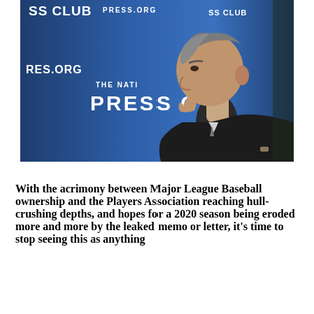[Figure (photo): A man in a dark suit, profile view, hand raised to chin in a thoughtful pose, against a blue background with 'National Press Club' and 'PRESS.ORG' text visible.]
With the acrimony between Major League Baseball ownership and the Players Association reaching hull-crushing depths, and hopes for a 2020 season being eroded more and more by the leaked memo or letter, it's time to stop seeing this as anything other than what it is: an or...